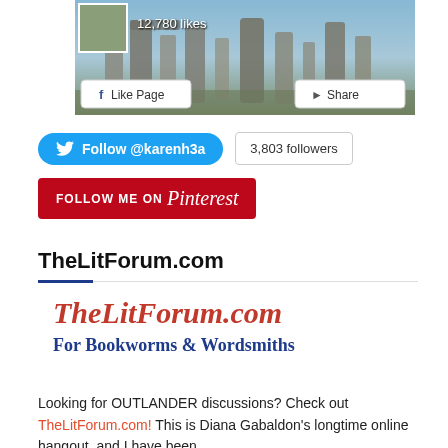[Figure (screenshot): Facebook page widget showing standing stones image with Like Page and Share buttons, 12,780 likes displayed]
[Figure (screenshot): Twitter Follow @karenh3a button (blue pill) and 3,803 followers badge]
[Figure (screenshot): Follow Me on Pinterest button (red)]
TheLitForum.com
[Figure (logo): TheLitForum.com logo — red italic script title and blue bold subtitle 'For Bookworms & Wordsmiths']
Looking for OUTLANDER discussions? Check out TheLitForum.com! This is Diana Gabaldon's longtime online hangout, and I have been